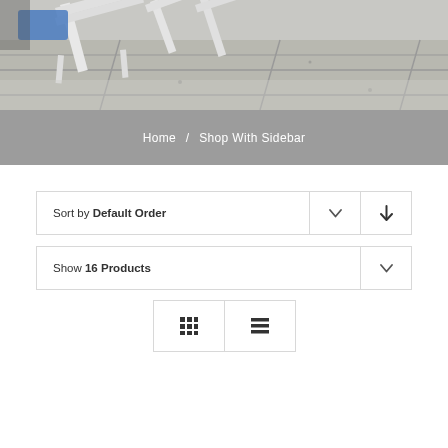[Figure (photo): Hero image showing white outdoor lounge chairs on a concrete/stone tile patio, with a blue cushion visible, photographed from above at an angle.]
Home / Shop With Sidebar
Sort by Default Order
Show 16 Products